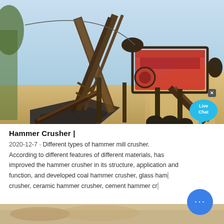[Figure (photo): Outdoor photograph of a large industrial hammer crusher / mobile crushing plant with conveyor belts, steel framework, red machinery components, and piles of aggregate material in the background under a light blue sky.]
Hammer Crusher |
2020-12-7 · Different types of hammer mill crusher. According to different features of different materials, has improved the hammer crusher in its structure, application and function, and developed coal hammer crusher, glass hammer crusher, ceramic hammer crusher, cement hammer cru…